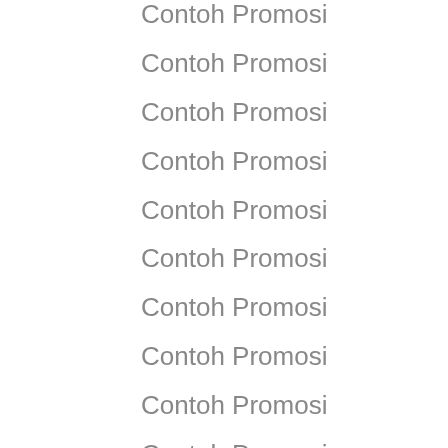Contoh Promosi
Contoh Promosi
Contoh Promosi
Contoh Promosi
Contoh Promosi
Contoh Promosi
Contoh Promosi
Contoh Promosi
Contoh Promosi
Contoh Promosi
Contoh Promosi
Contoh Promosi
Contoh Promosi
Contoh Promosi
Contoh Promosi
Contoh Promosi
Contoh Promosi
Contoh Promosi
Contoh Promosi
Contoh Promosi
Contoh Promosi
Contoh Promosi
Contoh Promosi